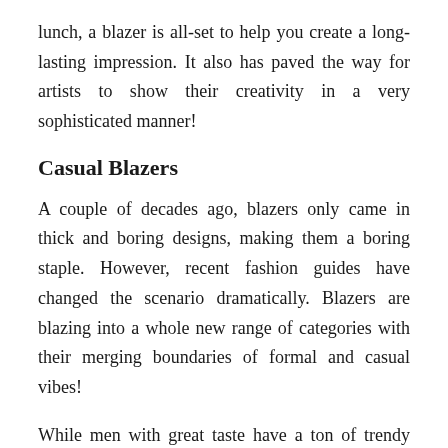lunch, a blazer is all-set to help you create a long-lasting impression. It also has paved the way for artists to show their creativity in a very sophisticated manner!
Casual Blazers
A couple of decades ago, blazers only came in thick and boring designs, making them a boring staple. However, recent fashion guides have changed the scenario dramatically. Blazers are blazing into a whole new range of categories with their merging boundaries of formal and casual vibes!
While men with great taste have a ton of trendy additions in their seasonal wardrobes, the informal ones are a completely different ball. That's the reason why